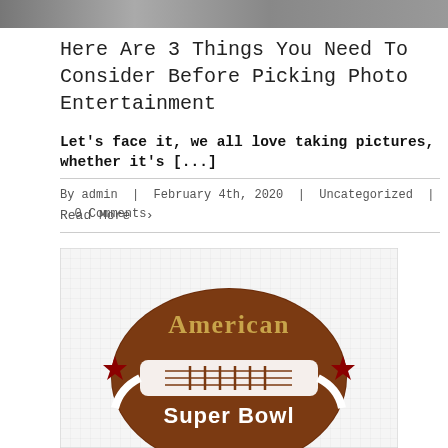[Figure (photo): Partial image at the top of the page showing people (cropped)]
Here Are 3 Things You Need To Consider Before Picking Photo Entertainment
Let's face it, we all love taking pictures, whether it's [...]
By admin | February 4th, 2020 | Uncategorized | 0 Comments
Read More >
[Figure (illustration): American Super Bowl football graphic with brown football, white laces, gold text reading 'American' and white text reading 'Super Bowl', with dark red stars on either side]